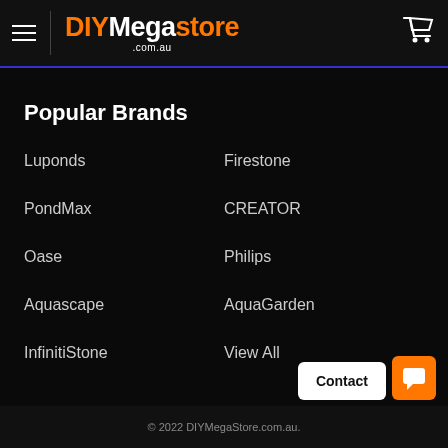DIYMegastore.com.au
Popular Brands
Luponds
Firestone
PondMax
CREATOR
Oase
Philips
Aquascape
AquaGarden
InfinitiStone
View All
© 2022 DIYMegaStore.com.au.